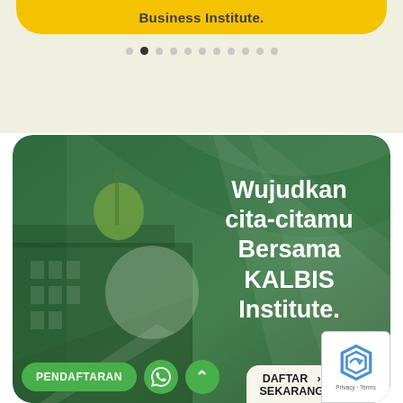[Figure (screenshot): Yellow rounded banner at top partially visible with text 'Business Institute']
[Figure (screenshot): Carousel dot navigation indicator with 11 dots, second dot active/filled]
[Figure (screenshot): Green card with KALBIS Institute promotional content, showing university building background, circular graphic elements, headline text 'Wujudkan cita-citamu Bersama KALBIS Institute.' and buttons for PENDAFTARAN and DAFTAR SEKARANG, with reCAPTCHA widget in corner]